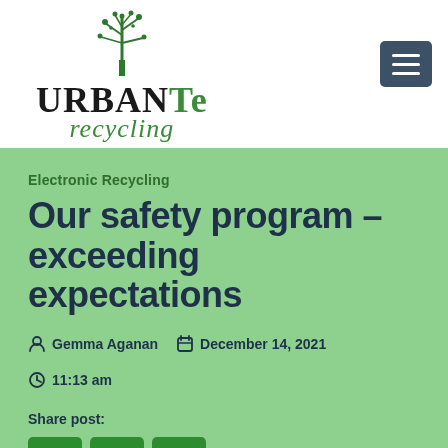[Figure (logo): Urban-Te Recycling logo with a green tree made of circuit-board style branches above the text 'URBAN Te recycling']
Our safety program – exceeding expectations
Electronic Recycling
Gemma Aganan   December 14, 2021   11:13 am
Share post:
[Figure (other): Three social media share buttons: Facebook, Twitter, LinkedIn]